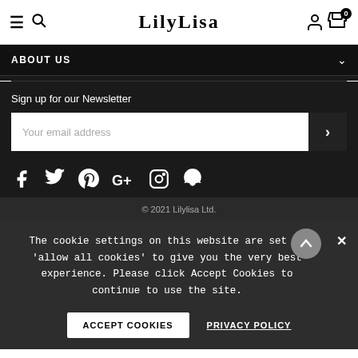LilyLisa
ABOUT US
Sign up for our Newsletter
Your email address
[Figure (infographic): Social media icons: Facebook, Twitter, Pinterest, Google+, Instagram, Snapchat]
© 2021 Lilylisa Ltd.
The cookie settings on this website are set to 'allow all cookies' to give you the very best experience. Please click Accept Cookies to continue to use the site.
ACCEPT COOKIES  PRIVACY POLICY